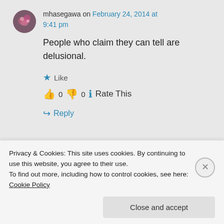mhasegawa on February 24, 2014 at 9:41 pm
People who claim they can tell are delusional.
Like
👍 0 👎 0 ℹ Rate This
↪ Reply
Privacy & Cookies: This site uses cookies. By continuing to use this website, you agree to their use.
To find out more, including how to control cookies, see here: Cookie Policy
Close and accept